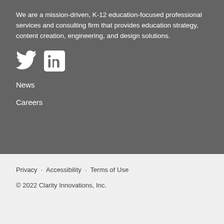We are a mission-driven, K-12 education-focused professional services and consulting firm that provides education strategy, content creation, engineering, and design solutions.
[Figure (logo): Social media icons: Twitter bird logo and LinkedIn 'in' logo in white/grey]
News
Careers
Privacy · Accessibility · Terms of Use
© 2022 Clarity Innovations, Inc.